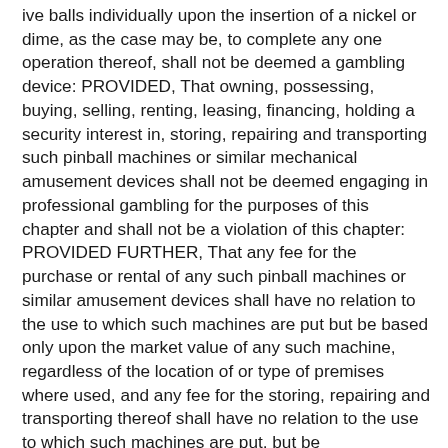ive balls individually upon the insertion of a nickel or dime, as the case may be, to complete any one operation thereof, shall not be deemed a gambling device: PROVIDED, That owning, possessing, buying, selling, renting, leasing, financing, holding a security interest in, storing, repairing and transporting such pinball machines or similar mechanical amusement devices shall not be deemed engaging in professional gambling for the purposes of this chapter and shall not be a violation of this chapter: PROVIDED FURTHER, That any fee for the purchase or rental of any such pinball machines or similar amusement devices shall have no relation to the use to which such machines are put but be based only upon the market value of any such machine, regardless of the location of or type of premises where used, and any fee for the storing, repairing and transporting thereof shall have no relation to the use to which such machines are put, but be commensurate with the cost of labor and other expenses incurred in any such storing, repairing and transporting.
(partial fragment at bottom of page)